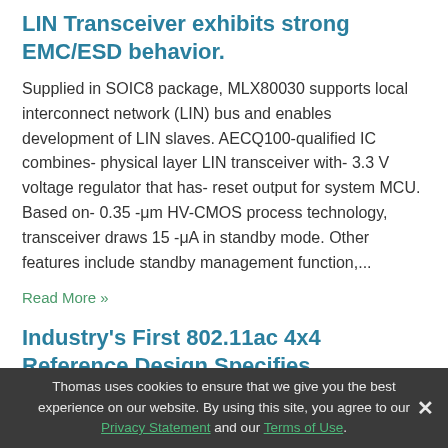LIN Transceiver exhibits strong EMC/ESD behavior.
Supplied in SOIC8 package, MLX80030 supports local interconnect network (LIN) bus and enables development of LIN slaves. AECQ100-qualified IC combines- physical layer LIN transceiver with- 3.3 V voltage regulator that has- reset output for system MCU. Based on- 0.35 -μm HV-CMOS process technology, transceiver draws 15 -μA in standby mode. Other features include standby management function,...
Read More »
Industry's First 802.11ac 4x4 Reference Design Specifies ANADIGICS' WiFi FEICs
Thomas uses cookies to ensure that we give you the best experience on our website. By using this site, you agree to our Privacy Statement and our Terms of Use.